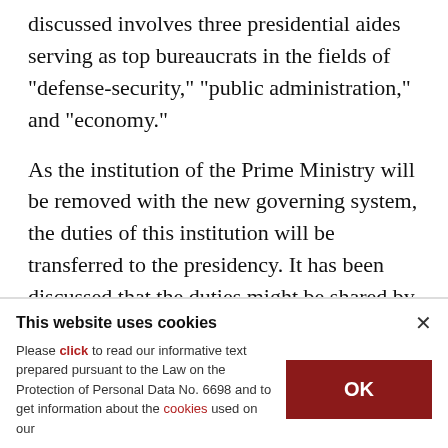discussed involves three presidential aides serving as top bureaucrats in the fields of "defense-security," "public administration," and "economy."
As the institution of the Prime Ministry will be removed with the new governing system, the duties of this institution will be transferred to the presidency. It has been discussed that the duties might be shared by some offices to be formed within the presidency in a system similar to that of
This website uses cookies
Please click to read our informative text prepared pursuant to the Law on the Protection of Personal Data No. 6698 and to get information about the cookies used on our